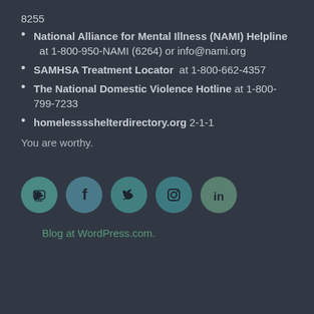8255
National Alliance for Mental Illness (NAMI) Helpline at 1-800-950-NAMI (6264) or info@nami.org
SAMHSA Treatment Locator at 1-800-662-4357
The National Domestic Violence Hotline at 1-800-799-7233
homelesssshelterdirectory.org 2-1-1
You are worthy.
[Figure (infographic): Row of five social media icon circles: YouTube, Facebook, Twitter, Instagram, LinkedIn]
Blog at WordPress.com.